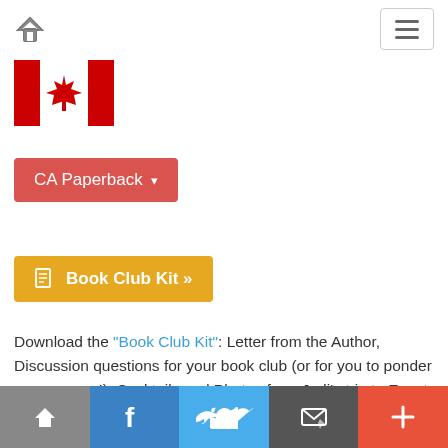Home | Menu
[Figure (illustration): Canadian flag with red maple leaf]
CA Paperback ▾
📄 Book Club Kit »
Download the "Book Club Kit": Letter from the Author, Discussion questions for your book club (or for you to ponder on your own!), Cocktails and Photos from Jodi's trip to Egypt
↑ | f | 🐦 | ✉ | +